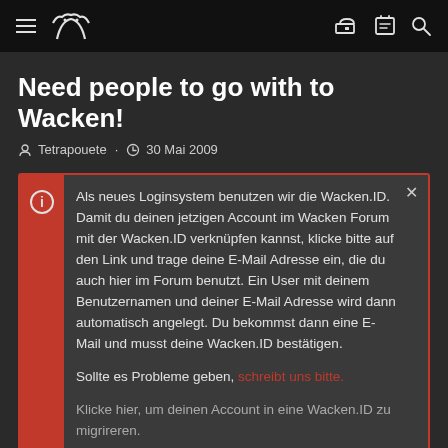Wacken Forum Navigation Header
Need people to go with to Wacken!
Tetrapouete · 30 Mai 2009
Als neues Loginsystem benutzen wir die Wacken.ID. Damit du deinen jetzigen Account im Wacken Forum mit der Wacken.ID verknüpfen kannst, klicke bitte auf den Link und trage deine E-Mail Adresse ein, die du auch hier im Forum benutzt. Ein User mit deinem Benutzernamen und deiner E-Mail Adresse wird dann automatisch angelegt. Du bekommst dann eine E-Mail und musst deine Wacken.ID bestätigen.

Sollte es Probleme geben, schreibt uns bitte.

Klicke hier, um deinen Account in eine Wacken.ID zu migrireren.